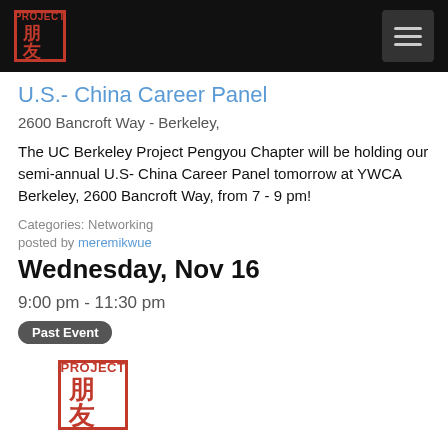PROJECT 朋友 [logo] [navigation hamburger menu]
U.S.- China Career Panel
2600 Bancroft Way - Berkeley,
The UC Berkeley Project Pengyou Chapter will be holding our semi-annual U.S- China Career Panel tomorrow at YWCA Berkeley, 2600 Bancroft Way, from 7 - 9 pm!
Categories: Networking
posted by meremikwue
Wednesday, Nov 16
9:00 pm - 11:30 pm
Past Event
[Figure (logo): Project Pengyou logo: red square border with PROJECT text and Chinese characters 朋友]